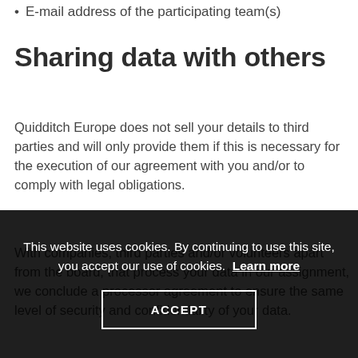E-mail address of the participating team(s)
Sharing data with others
Quidditch Europe does not sell your details to third parties and will only provide them if this is necessary for the execution of our agreement with you and/or to comply with legal obligations.
With companies, third parties and/or volunteers apart from the board, that process your data in our assignment, we conclude a processor agreement to ensure the same level of security and confidentiality of your data.
This website uses cookies. By continuing to use this site, you accept our use of cookies. Learn more
ACCEPT